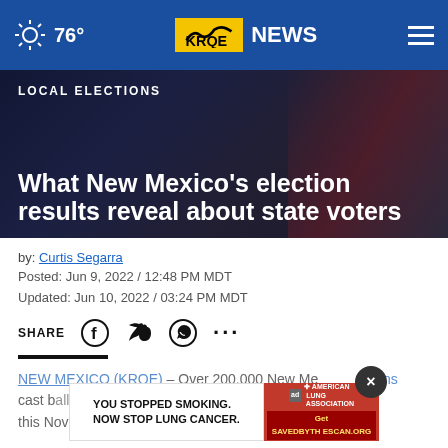76° KRQE NEWS
LOCAL ELECTIONS
What New Mexico's election results reveal about state voters
by: Curtis Segarra
Posted: Jun 9, 2022 / 12:48 PM MDT
Updated: Jun 10, 2022 / 03:24 PM MDT
SHARE
NEW MEXICO (KRQE) – Over 200,000 New Mexicans cast b... re-off this November. You probably already know some o
[Figure (screenshot): Advertisement banner: YOU STOPPED SMOKING. NOW STOP LUNG CANCER. American Lung Association ad with SavedByTheScan.org URL]